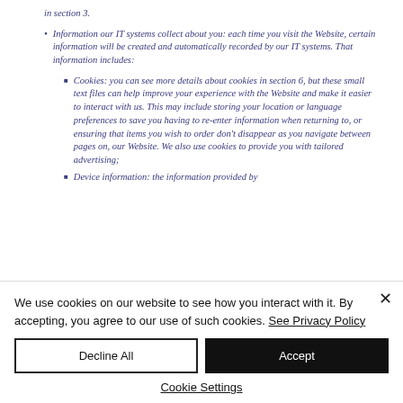in section 3.
• Information our IT systems collect about you: each time you visit the Website, certain information will be created and automatically recorded by our IT systems. That information includes:
• Cookies: you can see more details about cookies in section 6, but these small text files can help improve your experience with the Website and make it easier to interact with us. This may include storing your location or language preferences to save you having to re-enter information when returning to, or ensuring that items you wish to order don't disappear as you navigate between pages on, our Website. We also use cookies to provide you with tailored advertising;
• Device information: the information provided by
We use cookies on our website to see how you interact with it. By accepting, you agree to our use of such cookies. See Privacy Policy
Decline All
Accept
Cookie Settings